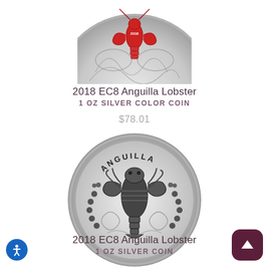[Figure (photo): Top portion of a silver color coin showing Anguilla Lobster design — partially cropped, showing lobster in red/silver coloring on ornate background]
2018 EC8 Anguilla Lobster
1 OZ SILVER COLOR COIN
$78.01
[Figure (photo): Full silver coin showing Anguilla Lobster design — black and white ornate lobster on coin face with ANGUILLA text at top, surrounded by decorative patterns]
2018 EC8 Anguilla Lobster
1 OZ SILVER COIN